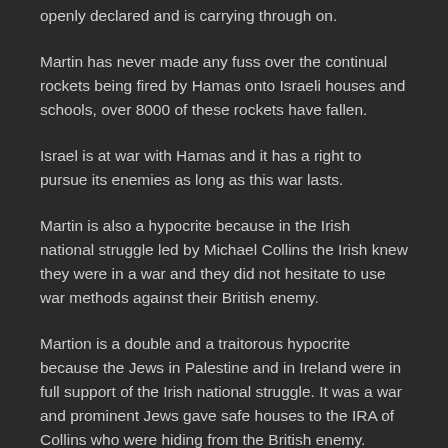openly declared and is carrying through on.
Martin has never made any fuss over the continual rockets being fired by Hamas onto Israeli houses and schools, over 8000 of these rockets have fallen.
Israel is at war with Hamas and it has a right to pursue its enemies as long as this war lasts.
Martin is also a hypocrite because in the Irish national struggle led by Michael Collins the Irish knew they were in a war and they did not hesitate to use war methods against their British enemy.
Martion is a double and a traitorous hypocrite because the Jews in Palestine and in Ireland were in full support of the Irish national struggle. It was a war and prominent Jews gave safe houses to the IRA of Collins who were hiding from the British enemy.
Furthermore the Jewish Briscoe family in Dublin were